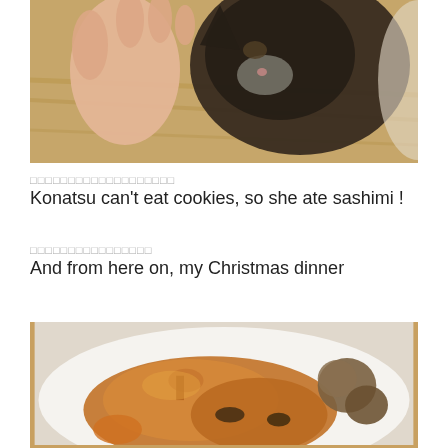[Figure (photo): Close-up photo of a cat (Konatsu) sniffing or nibbling something held by a human hand, with blurred wooden floor background]
□□□□□□□□□□□□□□□□□□□
Konatsu can't eat cookies, so she ate sashimi !
□□□□□□□□□□□□□□□□
And from here on, my Christmas dinner
[Figure (photo): Photo of a Christmas dinner plate with roasted chicken/meat and roasted chestnuts or potatoes on a white plate]